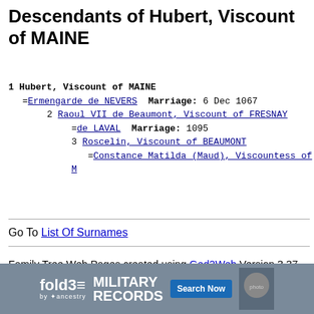Descendants of Hubert, Viscount of MAINE
1 Hubert, Viscount of MAINE
=Ermengarde de NEVERS  Marriage: 6 Dec 1067
2 Raoul VII de Beaumont, Viscount of FRESNAY
=de LAVAL  Marriage: 1095
3 Roscelin, Viscount of BEAUMONT
=Constance Matilda (Maud), Viscountess of M
Go To List Of Surnames
Family Tree Web Pages created using Ged2Web Version 3.37 (Unregistered Version)
[Figure (other): Fold3 Military Records advertisement banner with Search Now button]